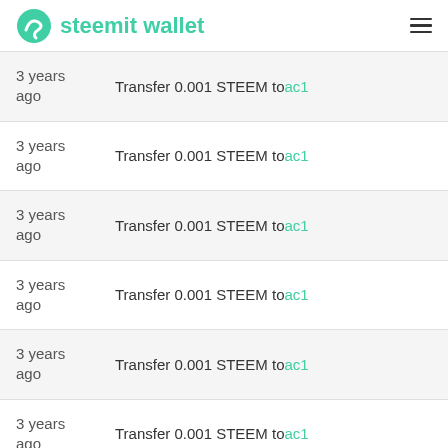steemit wallet
3 years ago — Transfer 0.001 STEEM to ac1
3 years ago — Transfer 0.001 STEEM to ac1
3 years ago — Transfer 0.001 STEEM to ac1
3 years ago — Transfer 0.001 STEEM to ac1
3 years ago — Transfer 0.001 STEEM to ac1
3 years ago — Transfer 0.001 STEEM to ac1